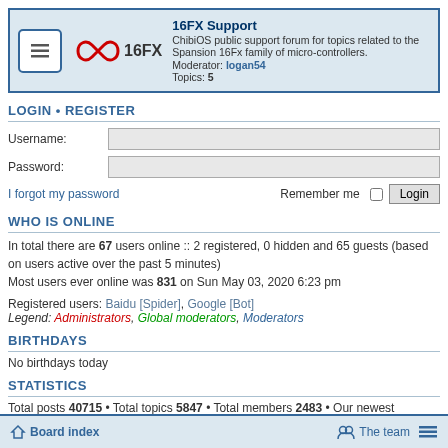[Figure (infographic): 16FX Support forum header with ChibiOS infinity logo and 16FX text]
LOGIN • REGISTER
Username:
Password:
I forgot my password
Remember me  Login
WHO IS ONLINE
In total there are 67 users online :: 2 registered, 0 hidden and 65 guests (based on users active over the past 5 minutes)
Most users ever online was 831 on Sun May 03, 2020 6:23 pm
Registered users: Baidu [Spider], Google [Bot]
Legend: Administrators, Global moderators, Moderators
BIRTHDAYS
No birthdays today
STATISTICS
Total posts 40715 • Total topics 5847 • Total members 2483 • Our newest member windel
Board index   The team